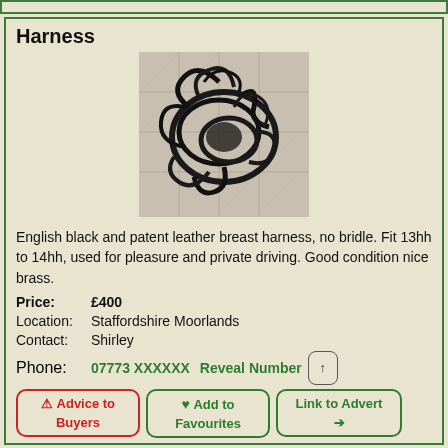Harness
[Figure (photo): Photo of a black leather breast harness coiled on a tiled floor]
English black and patent leather breast harness, no bridle. Fit 13hh to 14hh, used for pleasure and private driving. Good condition nice brass.
Price: £400
Location: Staffordshire Moorlands
Contact: Shirley
Phone: 07773 XXXXXX   Reveal Number
⚠ Advice to Buyers   ♥ Add to Favourites   Link to Advert ➔